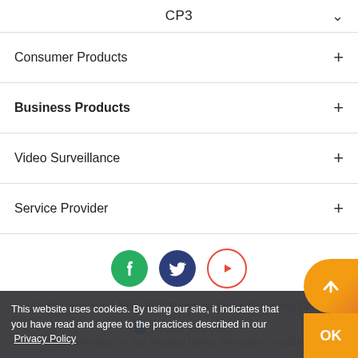CP3
Consumer Products
Business Products
Video Surveillance
Service Provider
[Figure (infographic): Three social media icons: Facebook (green circle), Twitter (dark blue circle), YouTube (white circle with red border)]
All rights reserved © 1999-2022 Shenzhen Tenda Technology Co.,Ltd.
Global / English/
This website uses cookies. By using our site, it indicates that you have read and agree to the practices described in our Privacy Policy